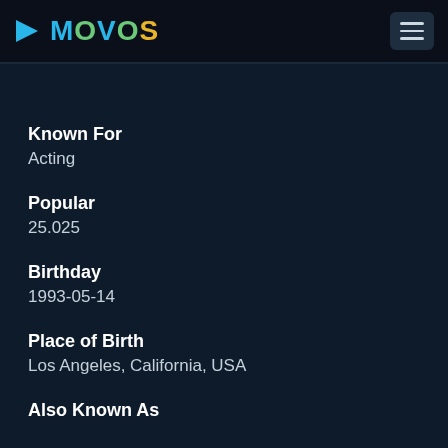MOVOS
Known For
Acting
Popular
25.025
Birthday
1993-05-14
Place of Birth
Los Angeles, California, USA
Also Known As